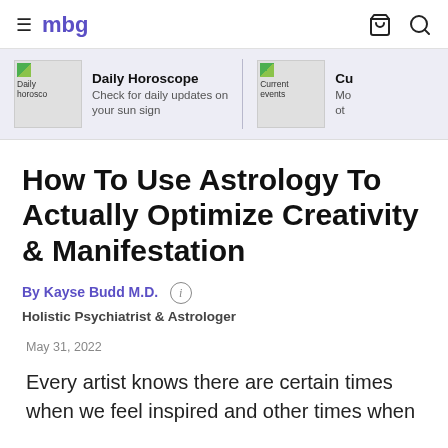mbg
[Figure (screenshot): Navigation bar with hamburger menu, mbg logo in purple, shopping bag icon and search icon on the right]
[Figure (infographic): Promo bar with two items: Daily Horoscope (Check for daily updates on your sun sign) and Current events, on a light purple-grey background]
How To Use Astrology To Actually Optimize Creativity & Manifestation
By Kayse Budd M.D. (i)
Holistic Psychiatrist & Astrologer
May 31, 2022
Every artist knows there are certain times when we feel inspired and other times when